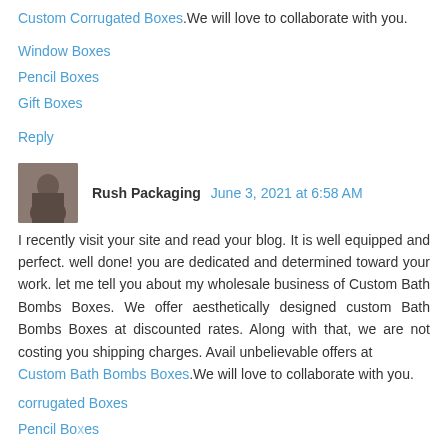Custom Corrugated Boxes.We will love to collaborate with you.
Window Boxes
Pencil Boxes
Gift Boxes
Reply
Rush Packaging  June 3, 2021 at 6:58 AM
I recently visit your site and read your blog. It is well equipped and perfect. well done! you are dedicated and determined toward your work. let me tell you about my wholesale business of Custom Bath Bombs Boxes. We offer aesthetically designed custom Bath Bombs Boxes at discounted rates. Along with that, we are not costing you shipping charges. Avail unbelievable offers at Custom Bath Bombs Boxes.We will love to collaborate with you.
corrugated Boxes
Pencil Boxes